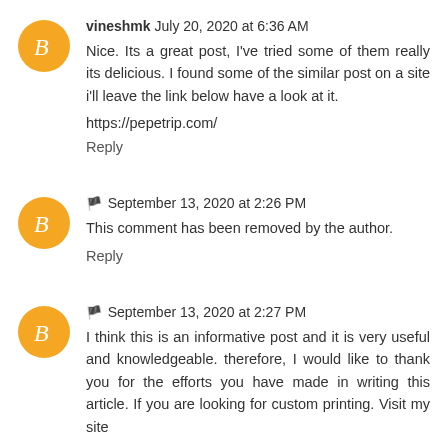vineshmk July 20, 2020 at 6:36 AM
Nice. Its a great post, I've tried some of them really its delicious. I found some of the similar post on a site i'll leave the link below have a look at it.
https://pepetrip.com/
Reply
🏳 September 13, 2020 at 2:26 PM
This comment has been removed by the author.
Reply
🏳 September 13, 2020 at 2:27 PM
I think this is an informative post and it is very useful and knowledgeable. therefore, I would like to thank you for the efforts you have made in writing this article. If you are looking for custom printing. Visit my site